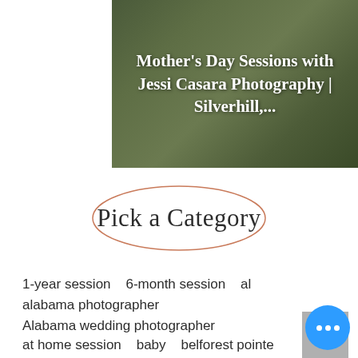[Figure (photo): Outdoor photography session banner with green grass background and white text overlay]
Mother's Day Sessions with Jessi Casara Photography | Silverhill,...
[Figure (illustration): Oval/ellipse border with cursive script text 'Pick a Category']
1-year session   6-month session   al
alabama photographer
Alabama wedding photographer
at home session   baby   belforest pointe
best of baldwin
best wedding photographer